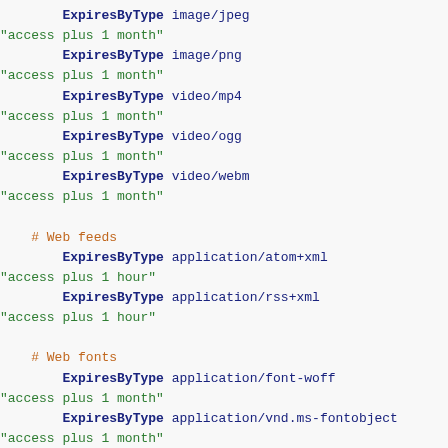ExpiresByType image/jpeg
"access plus 1 month"
        ExpiresByType image/png
"access plus 1 month"
        ExpiresByType video/mp4
"access plus 1 month"
        ExpiresByType video/ogg
"access plus 1 month"
        ExpiresByType video/webm
"access plus 1 month"

    # Web feeds
        ExpiresByType application/atom+xml
"access plus 1 hour"
        ExpiresByType application/rss+xml
"access plus 1 hour"

    # Web fonts
        ExpiresByType application/font-woff
"access plus 1 month"
        ExpiresByType application/vnd.ms-fontobject
"access plus 1 month"
        ExpiresByType application/x-font-ttf
"access plus 1 month"
        ExpiresByType font/opentype
"access plus 1 month"
        ExpiresByType image/svg+xml